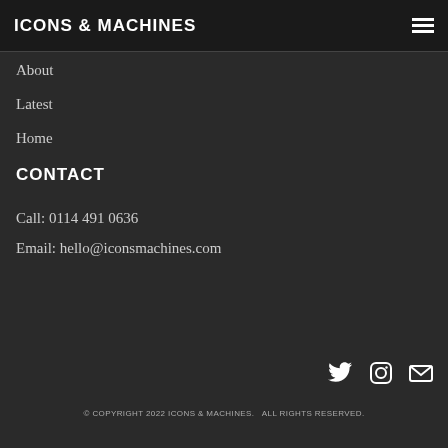ICONS & MACHINES
About
Latest
Home
CONTACT
Call: 0114 491 0636
Email: hello@iconsmachines.com
[Figure (other): Social media icons: Twitter bird, Instagram camera, Mail envelope]
© COPYRIGHT 2022 ICONS & MACHINES.   ALL RIGHTS RESERVED.